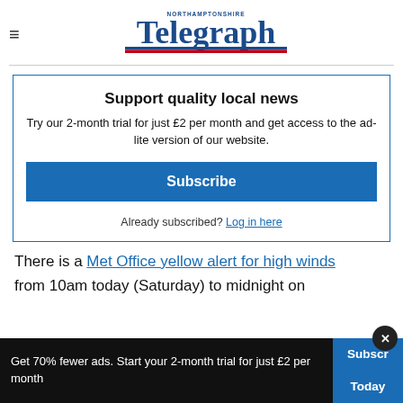Northamptonshire Telegraph
Support quality local news
Try our 2-month trial for just £2 per month and get access to the ad-lite version of our website.
Subscribe
Already subscribed? Log in here
There is a Met Office yellow alert for high winds from 10am today (Saturday) to midnight on
Get 70% fewer ads. Start your 2-month trial for just £2 per month
Subscribe Today